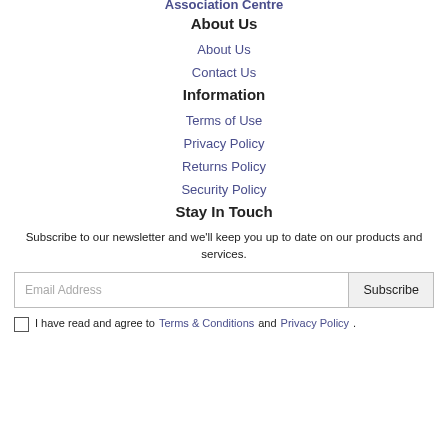About Us
About Us
Contact Us
Information
Terms of Use
Privacy Policy
Returns Policy
Security Policy
Stay In Touch
Subscribe to our newsletter and we'll keep you up to date on our products and services.
Email Address | Subscribe
I have read and agree to Terms & Conditions and Privacy Policy.